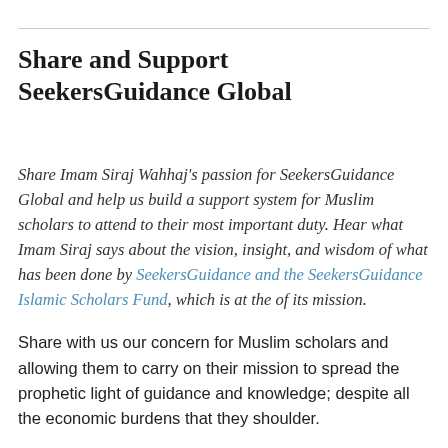Share and Support SeekersGuidance Global
Share Imam Siraj Wahhaj's passion for SeekersGuidance Global and help us build a support system for Muslim scholars to attend to their most important duty. Hear what Imam Siraj says about the vision, insight, and wisdom of what has been done by SeekersGuidance and the SeekersGuidance Islamic Scholars Fund, which is at the of its mission.
Share with us our concern for Muslim scholars and allowing them to carry on their mission to spread the prophetic light of guidance and knowledge; despite all the economic burdens that they shoulder.
Give now! Whether it is your zakat or sadaqa, it's not ...